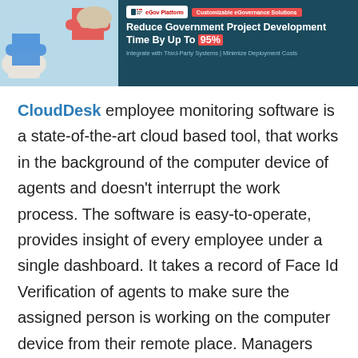[Figure (infographic): Advertisement banner with teal/dark background. Left side shows a light blue photo area with puzzle piece hands graphic. Right side has a logo reading 'eGov Platform', a red tag 'Customizable eGovernance Solutions', bold headline 'Reduce Government Project Development Time By Up To 95%', and subtext 'Integrate with Third-Party Systems | Minimize Deployment Costs'.]
CloudDesk employee monitoring software is a state-of-the-art cloud based tool, that works in the background of the computer device of agents and doesn't interrupt the work process. The software is easy-to-operate, provides insight of every employee under a single dashboard. It takes a record of Face Id Verification of agents to make sure the assigned person is working on the computer device from their remote place. Managers can review the dashboard and find past records to evaluate the conduct of an employee at a certain date and time. Additionally, you can also get to know how long